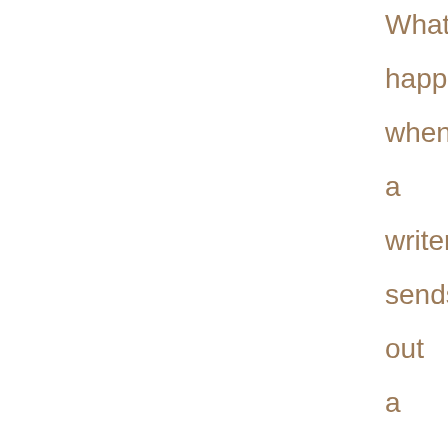What happens when a writer sends out a manuscript too soon What if more than one agent asks to see my manus